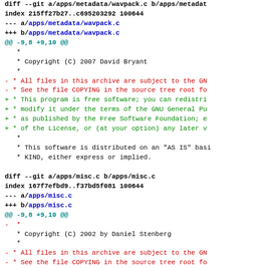diff --git a/apps/metadata/wavpack.c b/apps/metadata/wavpack.c
index 215ff27b27..c695203292 100644
--- a/apps/metadata/wavpack.c
+++ b/apps/metadata/wavpack.c
@@ -9,8 +9,10 @@
   *
   * Copyright (C) 2007 David Bryant
   *
 - * All files in this archive are subject to the GN
 - * See the file COPYING in the source tree root fo
 + * This program is free software; you can redistri
 + * modify it under the terms of the GNU General Pu
 + * as published by the Free Software Foundation; e
 + * of the License, or (at your option) any later v
   *
   * This software is distributed on an "AS IS" basi
   * KIND, either express or implied.

diff --git a/apps/misc.c b/apps/misc.c
index 167f7efbd9..f37bd5f081 100644
--- a/apps/misc.c
+++ b/apps/misc.c
@@ -9,8 +9,10 @@
 - *
   * Copyright (C) 2002 by Daniel Stenberg
   *
 - * All files in this archive are subject to the GN
 - * See the file COPYING in the source tree root fo
 + * This program is free software; you can redistri
 + * modify it under the terms of the GNU General Pu
 + * as published by the Free Software Foundation; F